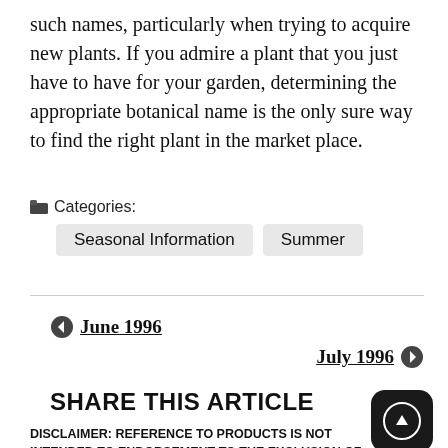such names, particularly when trying to acquire new plants. If you admire a plant that you just have to have for your garden, determining the appropriate botanical name is the only sure way to find the right plant in the market place.
Categories: Seasonal Information   Summer
← June 1996
July 1996 →
SHARE THIS ARTICLE
DISCLAIMER: REFERENCE TO PRODUCTS IS NOT INTENDED TO ENDORSEMENT TO THE EXCLUSION OF OTHERS WHICH MAY HAVE